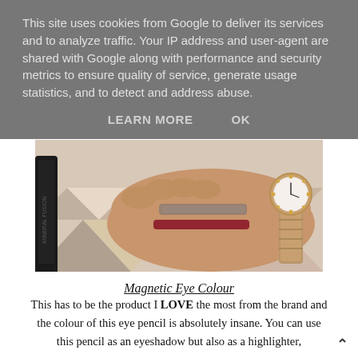This site uses cookies from Google to deliver its services and to analyze traffic. Your IP address and user-agent are shared with Google along with performance and security metrics to ensure quality of service, generate usage statistics, and to detect and address abuse.
LEARN MORE   OK
[Figure (photo): A hand with makeup swatches — a greyish brown eyeshadow swatch and a dark red lip/eye colour swatch — on the back of the hand. The person is wearing a rose gold bracelet watch. Black cosmetic packaging visible on the left.]
Magnetic Eye Colour
This has to be the product I LOVE the most from the brand and the colour of this eye pencil is absolutely insane. You can use this pencil as an eyeshadow but also as a highlighter,